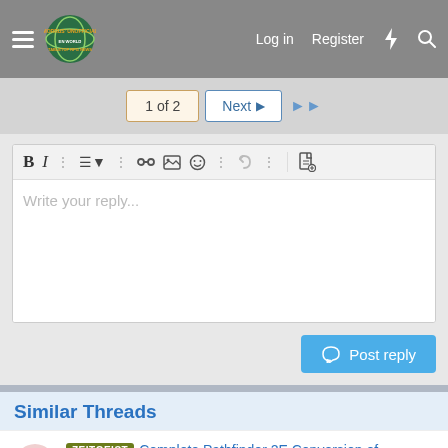Morrus' Unofficial Tabletop RPG News — Log in  Register
1 of 2  Next  ▶▶
[Figure (screenshot): Rich text editor toolbar with Bold, Italic, list, link, image, emoji, undo, and file icons, with placeholder text 'Write your reply...']
Post reply
Similar Threads
ZEITGEIST  Complete Pathfinder 2E Conversion of Zeitgeist First Act!